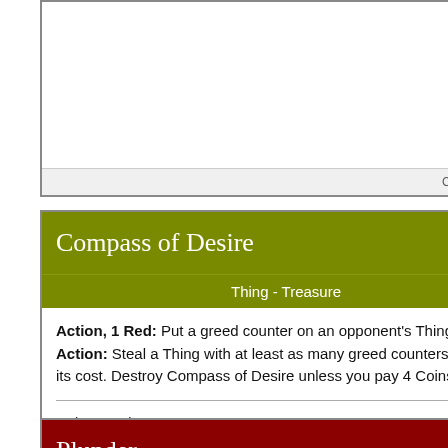[Figure (other): Partial top of a card game card, showing only the footer. Footer reads: Card by Bucky]
Card by Bucky
[Figure (other): Card titled 'Compass of Desire', cost 2, type Thing - Treasure. Olive/dark yellow header. Rules text: Action, 1 Red: Put a greed counter on an opponent's Thing. Action: Steal a Thing with at least as many greed counters on it as its cost. Destroy Compass of Desire unless you pay 4 Coins. Flavor text: Points to what you covet most. Card by Bucky.]
Compass of Desire
Thing - Treasure
Action, 1 Red: Put a greed counter on an opponent's Thing.
Action: Steal a Thing with at least as many greed counters on it as its cost. Destroy Compass of Desire unless you pay 4 Coins.
Points to what you covet most
Card by Bucky
[Figure (other): Partial bottom card titled 'Plunder', cost 3, dark red header, partially visible.]
Plunder